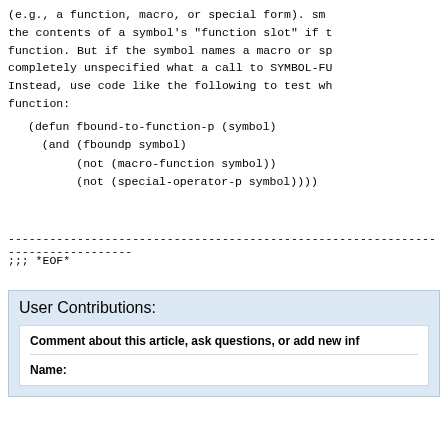(e.g., a function, macro, or special form). sm the contents of a symbol's "function slot" if the symbol names a function. But if the symbol names a macro or sp completely unspecified what a call to SYMBOL-FU Instead, use code like the following to test wh function:
(defun fbound-to-function-p (symbol)
  (and (fboundp symbol)
       (not (macro-function symbol))
       (not (special-operator-p symbol))))
----------------------------------------------------------------------
;;; *EOF*
User Contributions:
Comment about this article, ask questions, or add new inf
Name: